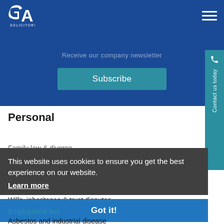[Figure (logo): GA Solicitors logo - white G and A letters with SOLICITORS text underneath on dark blue background]
Receive our company newsletter
Subscribe
Contact us today
Personal
Family law & divorce
Conveyancing
Personal injury
Wills, inheritance & trust disputes
Employment law
Asbestos and industrial disease
This website uses cookies to ensure you get the best experience on our website.
Learn more
Got it!